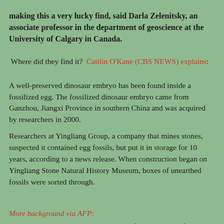making this a very lucky find, said Darla Zelenitsky, an associate professor in the department of geoscience at the University of Calgary in Canada.
Where did they find it?  Caitlin O'Kane (CBS NEWS) explains:
A well-preserved dinosaur embryo has been found inside a fossilized egg. The fossilized dinosaur embryo came from Ganzhou, Jiangxi Province in southern China and was acquired by researchers in 2000.
Researchers at Yingliang Group, a company that mines stones, suspected it contained egg fossils, but put it in storage for 10 years, according to a news release. When construction began on Yingliang Stone Natural History Museum, boxes of unearthed fossils were sorted through.
More background via AFP:
Oviraptorosaurs, which means "egg thief lizards," were feathered